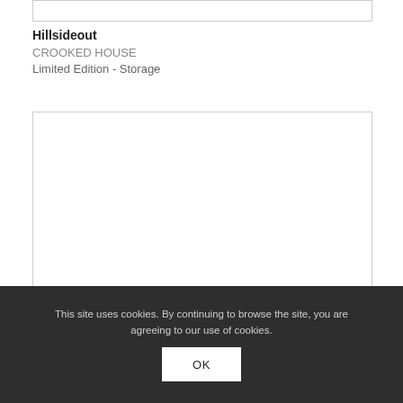[Figure (other): Top image placeholder box, empty white rectangle with border]
Hillsideout
CROOKED HOUSE
Limited Edition - Storage
[Figure (other): Main product image area, large empty white rectangle with border]
This site uses cookies. By continuing to browse the site, you are agreeing to our use of cookies.
OK